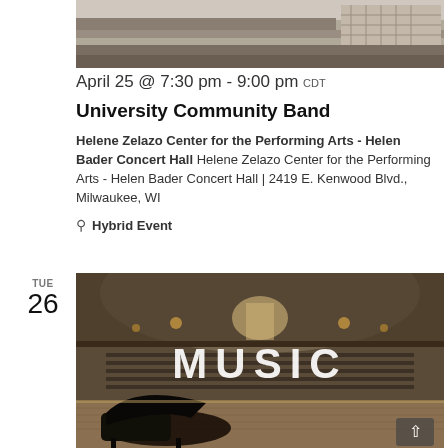[Figure (photo): Top strip photo of a concert hall interior showing tiered seating and stairs]
April 25 @ 7:30 pm - 9:00 pm CDT
University Community Band
Helene Zelazo Center for the Performing Arts - Helen Bader Concert Hall Helene Zelazo Center for the Performing Arts - Helen Bader Concert Hall | 2419 E. Kenwood Blvd., Milwaukee, WI
Hybrid Event
[Figure (photo): Interior of a concert hall with a grand piano on stage and the word MUSIC overlaid in white text. The hall shows arched ceiling, balcony seating, and rows of audience chairs.]